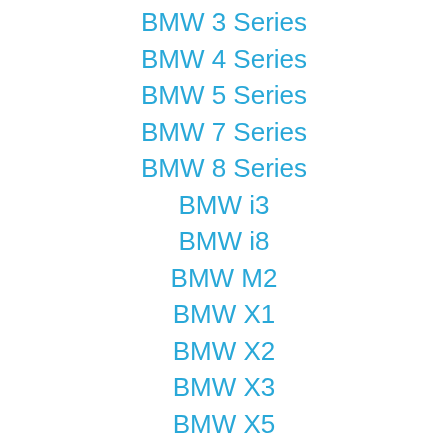BMW 3 Series
BMW 4 Series
BMW 5 Series
BMW 7 Series
BMW 8 Series
BMW i3
BMW i8
BMW M2
BMW X1
BMW X2
BMW X3
BMW X5
BMW X6